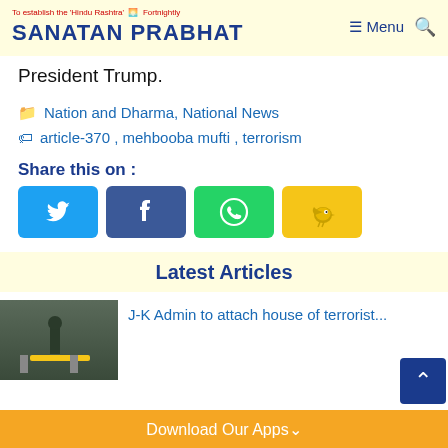To establish the 'Hindu Rashtra' Fortnightly | SANATAN PRABHAT | Menu
President Trump.
Nation and Dharma, National News
article-370, mehbooba mufti, terrorism
Share this on :
[Figure (infographic): Social share buttons: Twitter (blue), Facebook (dark blue), WhatsApp (green), Koo (yellow)]
Latest Articles
J-K Admin to attach house of terrorist...
Download Our Apps